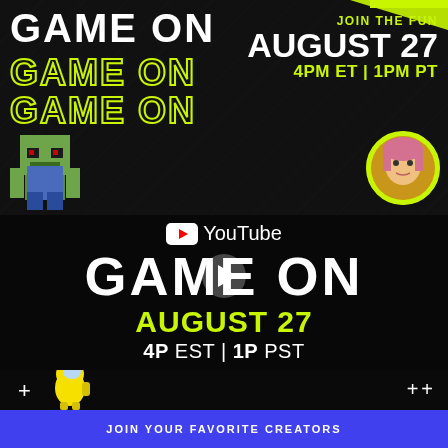[Figure (infographic): Top banner: dark background with diagonal grid lines, 'GAME ON' in white large text, two rows of 'GAME ON' in neon green outlined text, Minecraft zombie character bottom-left, circular avatar of a woman bottom-right with green border]
GAME ON
JOIN THE FUN
AUGUST 27
4PM ET | 1PM PT
[Figure (screenshot): YouTube video thumbnail area: black background with YouTube logo, 'GAME ON' in large white bold text, 'AUGUST 27' in neon green bold, '4P EST | 1P PST' in white, play button overlay in center]
[Figure (infographic): Bottom strip: dark background with + sign left, yellow Among Us character, ++ signs right]
JOIN YOUR FAVORITE CREATORS